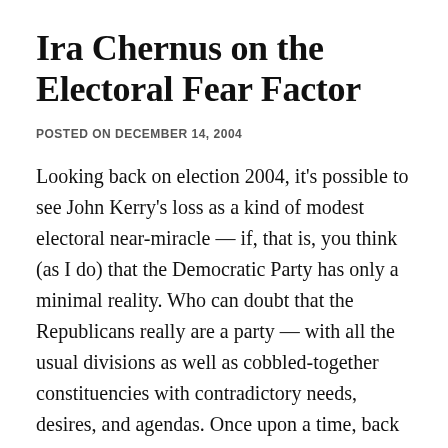Ira Chernus on the Electoral Fear Factor
POSTED ON DECEMBER 14, 2004
Looking back on election 2004, it's possible to see John Kerry's loss as a kind of modest electoral near-miracle — if, that is, you think (as I do) that the Democratic Party has only a minimal reality. Who can doubt that the Republicans really are a party — with all the usual divisions as well as cobbled-together constituencies with contradictory needs, desires, and agendas. Once upon a time, back in the 1940s, when the Republicans looked to be an out-of-power junior party for the foreseeable future, that might